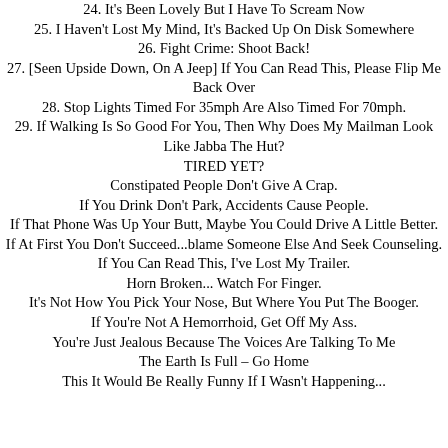24. It's Been Lovely But I Have To Scream Now
25. I Haven't Lost My Mind, It's Backed Up On Disk Somewhere
26. Fight Crime: Shoot Back!
27. [Seen Upside Down, On A Jeep] If You Can Read This, Please Flip Me Back Over
28. Stop Lights Timed For 35mph Are Also Timed For 70mph.
29. If Walking Is So Good For You, Then Why Does My Mailman Look Like Jabba The Hut?
TIRED YET?
Constipated People Don't Give A Crap.
If You Drink Don't Park, Accidents Cause People.
If That Phone Was Up Your Butt, Maybe You Could Drive A Little Better.
If At First You Don't Succeed...blame Someone Else And Seek Counseling.
If You Can Read This, I've Lost My Trailer.
Horn Broken... Watch For Finger.
It's Not How You Pick Your Nose, But Where You Put The Booger.
If You're Not A Hemorrhoid, Get Off My Ass.
You're Just Jealous Because The Voices Are Talking To Me
The Earth Is Full – Go Home
This It Would Be Really Funny If I Wasn't Happening...